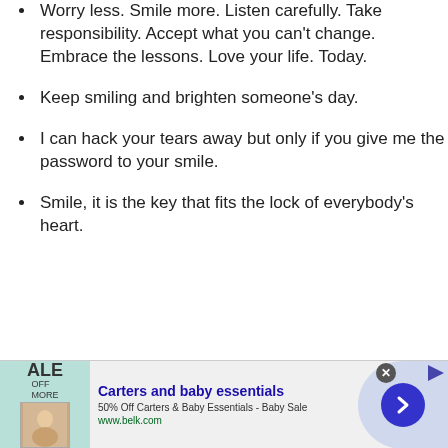Worry less. Smile more. Listen carefully. Take responsibility. Accept what you can't change. Embrace the lessons. Love your life. Today.
Keep smiling and brighten someone's day.
I can hack your tears away but only if you give me the password to your smile.
Smile, it is the key that fits the lock of everybody's heart.
[Figure (other): Advertisement banner for Carters and baby essentials: 50% Off Carters & Baby Essentials - Baby Sale, www.belk.com]